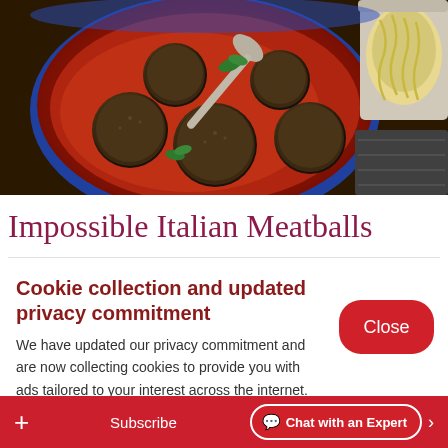[Figure (photo): A blue oval baking dish filled with Italian meatballs in red tomato sauce, garnished with fresh basil leaves, with a serving spoon. A colander with pasta is partially visible in the upper right corner.]
Impossible Italian Meatballs
Cookie collection and updated privacy commitment
We have updated our privacy commitment and are now collecting cookies to provide you with ads tailored to your interest across the internet. For more information about cookies and how to disable cookies visit our privacy commitment.
+ Subscribe  Chat with an Expert